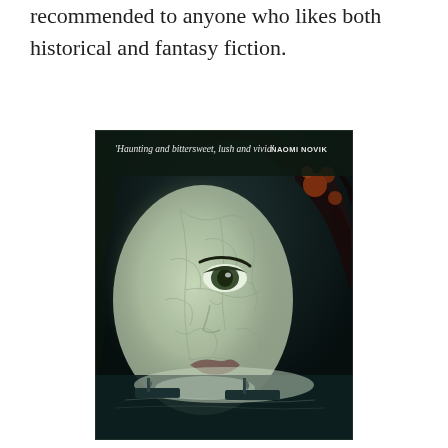... is still very good entertainment that can be recommended to anyone who likes both historical and fantasy fiction.
[Figure (illustration): Book cover showing a close-up of a woman's face with cracked porcelain-like texture overlaid on pale skin, dark curly hair, one visible eye, with small sailing ships visible in the lower portion. Text on cover reads: 'Haunting and bittersweet, lush and vivid' NAOMI NOVIK]